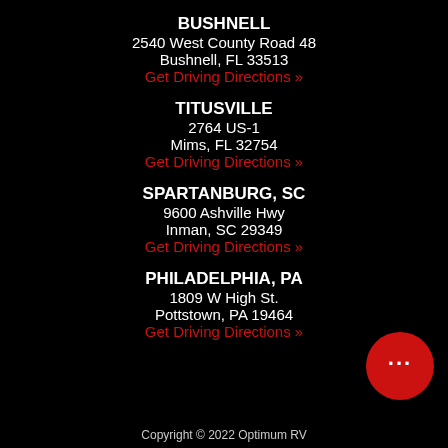BUSHNELL
2540 West County Road 48
Bushnell, FL 33513
Get Driving Directions »
TITUSVILLE
2764 US-1
Mims, FL 32754
Get Driving Directions »
SPARTANBURG, SC
9600 Ashville Hwy
Inman, SC 29349
Get Driving Directions »
PHILADELPHIA, PA
1809 W High St.
Pottstown, PA 19464
Get Driving Directions »
Copyright © 2022 Optimum RV